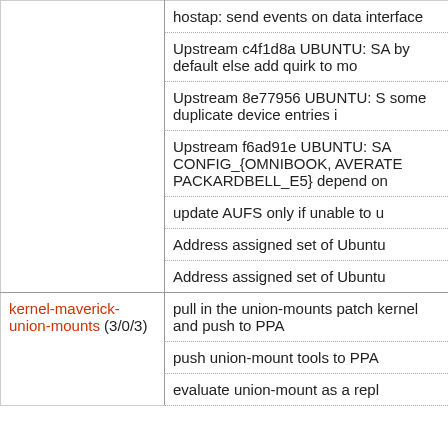| Package | Description |
| --- | --- |
|  | hostap: send events on data interface |
|  | Upstream c4f1d8a UBUNTU: SA... by default else add quirk to mo... |
|  | Upstream 8e77956 UBUNTU: S... some duplicate device entries i... |
|  | Upstream f6ad91e UBUNTU: SA... CONFIG_{OMNIBOOK, AVERATE... PACKARDBELL_E5} depend on ... |
|  | update AUFS only if unable to u... |
|  | Address assigned set of Ubuntu... |
|  | Address assigned set of Ubuntu... |
| kernel-maverick-union-mounts (3/0/3) | pull in the union-mounts patch... kernel and push to PPA |
|  | push union-mount tools to PPA |
|  | evaluate union-mount as a repl... |